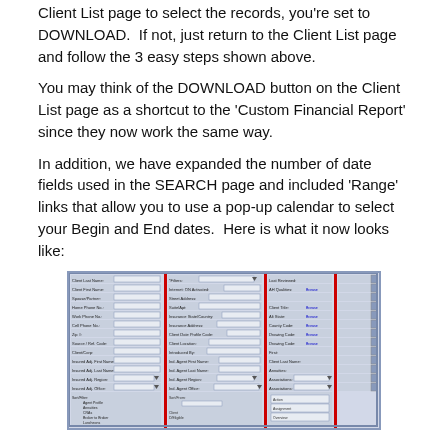Client List page to select the records, you're set to DOWNLOAD.  If not, just return to the Client List page and follow the 3 easy steps shown above.
You may think of the DOWNLOAD button on the Client List page as a shortcut to the 'Custom Financial Report' since they now work the same way.
In addition, we have expanded the number of date fields used in the SEARCH page and included 'Range' links that allow you to use a pop-up calendar to select your Begin and End dates.  Here is what it now looks like:
[Figure (screenshot): Screenshot of a SEARCH page form with multiple columns of labeled input fields, including date fields and Range links. The form has a light blue/grey background with red-bordered column dividers and blue hyperlinks.]